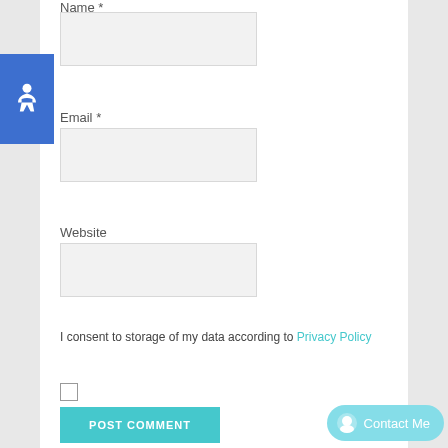Name *
[Figure (other): Empty text input box for Name field]
[Figure (other): Blue accessibility icon button with wheelchair symbol]
Email *
[Figure (other): Empty text input box for Email field]
Website
[Figure (other): Empty text input box for Website field]
I consent to storage of my data according to Privacy Policy
[Figure (other): Unchecked checkbox]
POST COMMENT
Contact Me